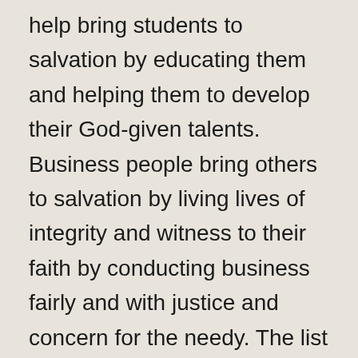help bring students to salvation by educating them and helping them to develop their God-given talents. Business people bring others to salvation by living lives of integrity and witness to their faith by conducting business fairly and with justice and concern for the needy. The list goes on. Every vocation, every authentic vocation, calls the disciple to do what God created them for, and helps God to bring salvation to the whole world.
On this Mother's Day, we can see in our Blessed Mother, the model of living our vocation. Through her fiat, she embraced the